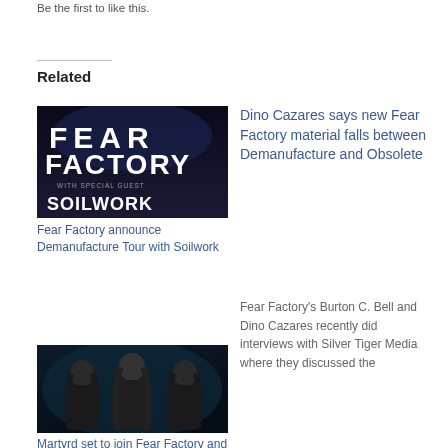Be the first to like this.
Related
[Figure (photo): Fear Factory and Soilwork concert poster with Fear Factory logo and Soilwork text on dark background]
Fear Factory announce Demanufacture Tour with Soilwork
Dino Cazares says new Fear Factory material falls between Demanufacture and Obsolete
Fear Factory's Burton C. Bell and Dino Cazares recently did interviews with Silver Tiger Media where they discussed the
[Figure (photo): Three band members with long dark hair against dark background - Martyrd band photo]
Martyrd set to join Fear Factory and Soilwork on